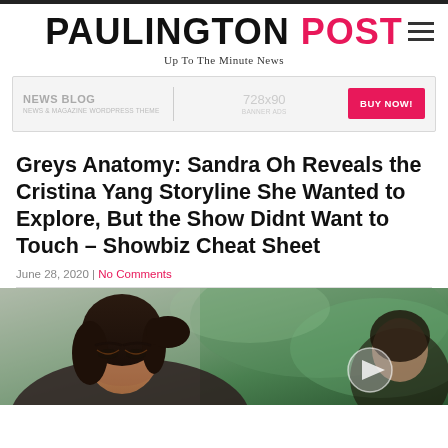PAULINGTON POST — Up To The Minute News
[Figure (other): Advertisement banner: NEWS BLOG | 728x90 | BUY NOW!]
Greys Anatomy: Sandra Oh Reveals the Cristina Yang Storyline She Wanted to Explore, But the Show Didnt Want to Touch – Showbiz Cheat Sheet
June 28, 2020 | No Comments
[Figure (photo): Photo of Sandra Oh as Cristina Yang, looking downward thoughtfully, with green foliage in the background. A semi-transparent play button circle is visible on the right side.]